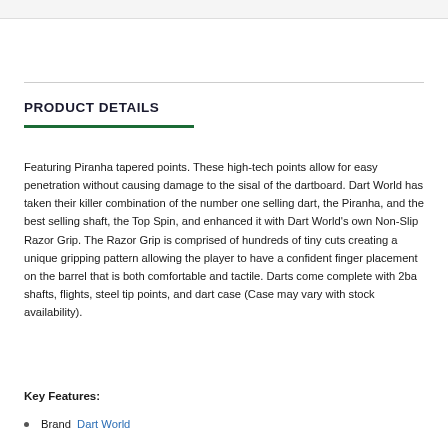PRODUCT DETAILS
Featuring Piranha tapered points. These high-tech points allow for easy penetration without causing damage to the sisal of the dartboard. Dart World has taken their killer combination of the number one selling dart, the Piranha, and the best selling shaft, the Top Spin, and enhanced it with Dart World's own Non-Slip Razor Grip. The Razor Grip is comprised of hundreds of tiny cuts creating a unique gripping pattern allowing the player to have a confident finger placement on the barrel that is both comfortable and tactile. Darts come complete with 2ba shafts, flights, steel tip points, and dart case (Case may vary with stock availability).
Key Features:
Brand   Dart World